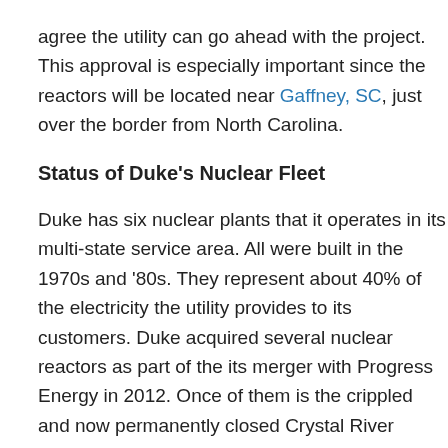agree the utility can go ahead with the project. This approval is especially important since the reactors will be located near Gaffney, SC, just over the border from North Carolina.
Status of Duke's Nuclear Fleet
Duke has six nuclear plants that it operates in its multi-state service area. All were built in the 1970s and '80s. They represent about 40% of the electricity the utility provides to its customers. Duke acquired several nuclear reactors as part of the its merger with Progress Energy in 2012. Once of them is the crippled and now permanently closed Crystal River reactor which sustained damage to its containment structure during the replacement of a steam generator. Progress was later ordered by the Florida PUC to refund $288 million to its customers for the cost of